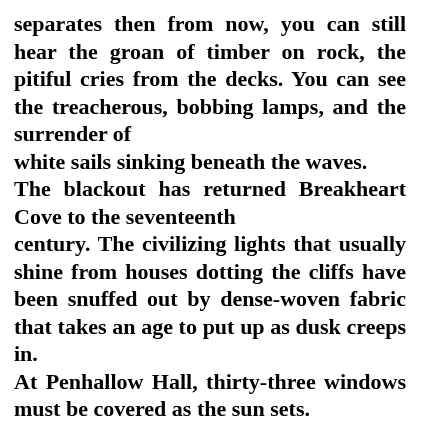separates then from now, you can still hear the groan of timber on rock, the pitiful cries from the decks. You can see the treacherous, bobbing lamps, and the surrender of white sails sinking beneath the waves. The blackout has returned Breakheart Cove to the seventeenth century. The civilizing lights that usually shine from houses dotting the cliffs have been snuffed out by dense-woven fabric that takes an age to put up as dusk creeps in. At Penhallow Hall, thirty-three windows must be covered as the sun sets.

Further up the coast, the war is more in evidence. There are two new pillboxes along the cliff path beyond the village of Vennor– one disguised as a tiny cottage, complete